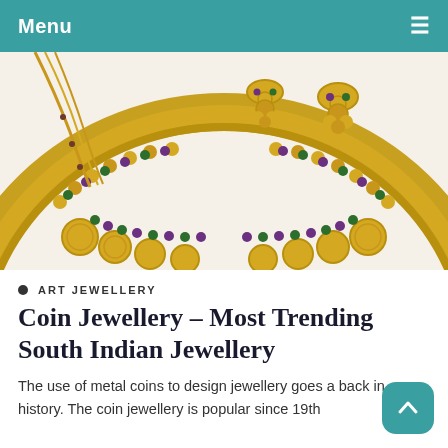Menu
[Figure (photo): Gold coin jewellery necklace and earrings set displayed on white background, featuring traditional South Indian design with gemstones and gold coins.]
ART JEWELLERY
Coin Jewellery – Most Trending South Indian Jewellery
The use of metal coins to design jewellery goes a back in history. The coin jewellery is popular since 19th century and it features different statutes, motifs and...